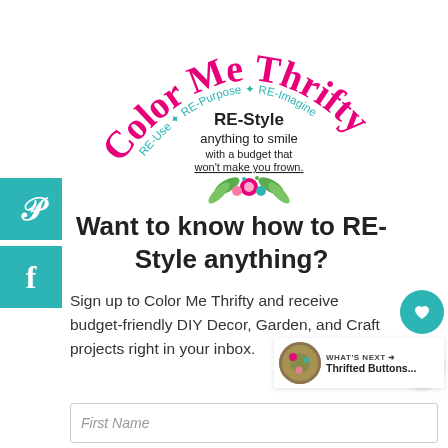[Figure (logo): Color Me Thrifty logo with hot pink arched text, teal curved text reading RE-Use, RE-Purpose, RE-Imagine, black text RE-Style anything to smile with a budget that won't make you frown, and a floral illustration at the bottom]
Want to know how to RE-Style anything?
Sign up to Color Me Thrifty and receive budget-friendly DIY Decor, Garden, and Craft projects right in your inbox.